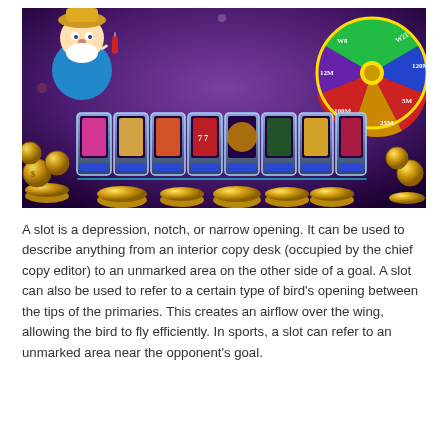[Figure (illustration): Colorful casino slot machine game illustration featuring a cartoon prospector/miner character holding dynamite, a prize wheel with values W8, 12M, W21, 120M, 5M, 25M, 100M, multiple slot machine reels displaying various game symbols, and piles of gold coins.]
A slot is a depression, notch, or narrow opening. It can be used to describe anything from an interior copy desk (occupied by the chief copy editor) to an unmarked area on the other side of a goal. A slot can also be used to refer to a certain type of bird's opening between the tips of the primaries. This creates an airflow over the wing, allowing the bird to fly efficiently. In sports, a slot can refer to an unmarked area near the opponent's goal.